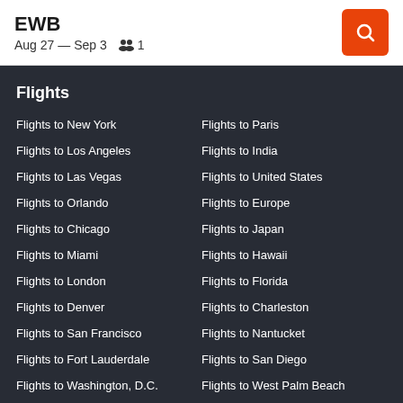EWB
Aug 27 – Sep 3   1
Flights
Flights to New York
Flights to Paris
Flights to Los Angeles
Flights to India
Flights to Las Vegas
Flights to United States
Flights to Orlando
Flights to Europe
Flights to Chicago
Flights to Japan
Flights to Miami
Flights to Hawaii
Flights to London
Flights to Florida
Flights to Denver
Flights to Charleston
Flights to San Francisco
Flights to Nantucket
Flights to Fort Lauderdale
Flights to San Diego
Flights to Washington, D.C.
Flights to West Palm Beach
Flights to Seattle
Flights to Detroit